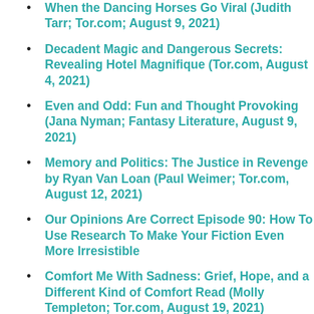When the Dancing Horses Go Viral (Judith Tarr; Tor.com; August 9, 2021)
Decadent Magic and Dangerous Secrets: Revealing Hotel Magnifique (Tor.com, August 4, 2021)
Even and Odd: Fun and Thought Provoking (Jana Nyman; Fantasy Literature, August 9, 2021)
Memory and Politics: The Justice in Revenge by Ryan Van Loan (Paul Weimer; Tor.com, August 12, 2021)
Our Opinions Are Correct Episode 90: How To Use Research To Make Your Fiction Even More Irresistible
Comfort Me With Sadness: Grief, Hope, and a Different Kind of Comfort Read (Molly Templeton; Tor.com, August 19, 2021)
Print Run Podcast Episode #145
Becoming the Thing That Haunts the House: Gothic Fiction and the Fear of Change (Holly